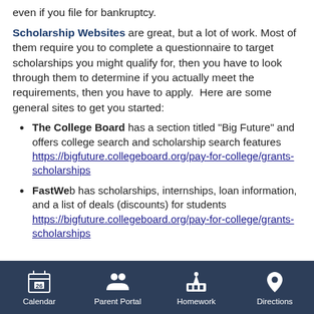even if you file for bankruptcy.
Scholarship Websites are great, but a lot of work. Most of them require you to complete a questionnaire to target scholarships you might qualify for, then you have to look through them to determine if you actually meet the requirements, then you have to apply. Here are some general sites to get you started:
The College Board has a section titled "Big Future" and offers college search and scholarship search features https://bigfuture.collegeboard.org/pay-for-college/grants-scholarships
FastWeb has scholarships, internships, loan information, and a list of deals (discounts) for students https://bigfuture.collegeboard.org/pay-for-college/grants-scholarships
Calendar | Parent Portal | Homework | Directions